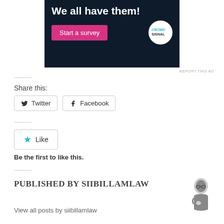[Figure (other): Advertisement banner for Crowdsignal survey tool on dark navy background with 'We all have them!' text, a pink 'Start a survey' button, and the Crowdsignal logo]
REPORT THIS AD
Share this:
Twitter
Facebook
Like
Be the first to like this.
PUBLISHED BY SIIBILLAMLAW
View all posts by siibillamlaw
[Figure (illustration): Small black and white illustration of an author — person resting chin on hand, wearing glasses]